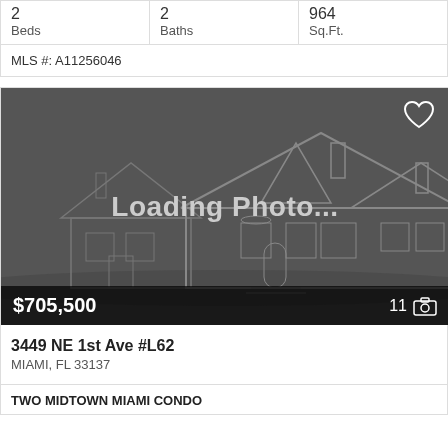| Beds | Baths | Sq.Ft. |
| --- | --- | --- |
| 2 | 2 | 964 |
MLS #: A11256046
[Figure (photo): Real estate listing card showing a dark placeholder image with house wireframe outline and 'Loading Photo...' text overlay. Price shown as $705,500 in bottom left, photo count '11' with camera icon in bottom right, and heart/favorite icon in top right.]
3449 NE 1st Ave #L62
MIAMI, FL 33137
TWO MIDTOWN MIAMI CONDO